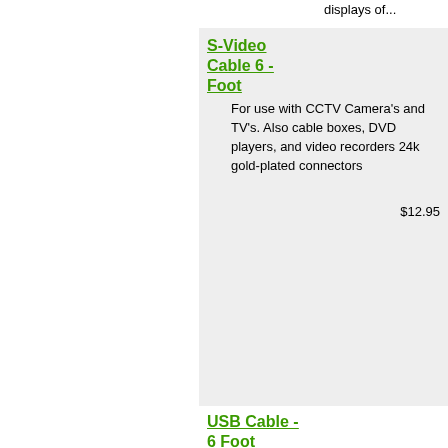displays of...
S-Video Cable 6 - Foot
For use with CCTV Camera's and TV's. Also cable boxes, DVD players, and video recorders 24k gold-plated connectors
$12.95
USB Cable - 6 Foot
The cable connects your USB printer, scanner, hard drive, and more to your computer, and then transmits the data at speeds of up to 480 Mbps. The cable also features high-performance 20-gauge power wires and is hot pluggable. In addition, the cable's molded strain relief and PVC overmolding
$19.95